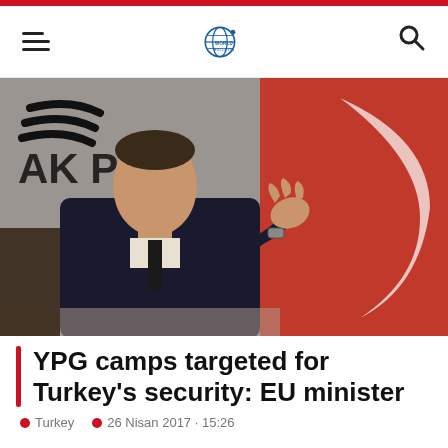World Bulletin — navigation header with hamburger menu and search icon
[Figure (photo): A man in a dark suit and tie speaking and gesturing with his hands. Behind him is an AK Party banner and a Turkish flag (red with white crescent). Press conference or interview setting.]
YPG camps targeted for Turkey's security: EU minister
Turkey  26 Nisan 2017 · 15:26